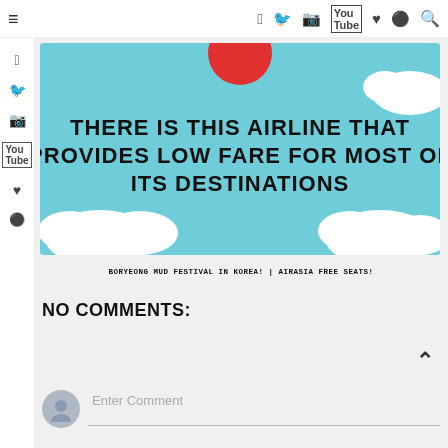≡  social icons and search
[Figure (illustration): Illustrated infographic with teal/sky background, white clouds, red circle at top, bold text reading: THERE IS THIS AIRLINE THAT PROVIDES LOW FARE FOR MOST OF ITS DESTINATIONS]
BORYEONG MUD FESTIVAL IN KOREA! | AIRASIA FREE SEATS!
NO COMMENTS:
Enter Comment